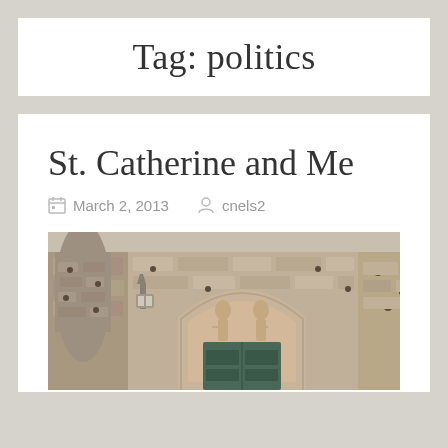Tag: politics
St. Catherine and Me
March 2, 2013   cnels2
[Figure (photo): Photograph of a medieval stone church facade with a rounded arch doorway. Above the door is a semicircular tympanum with bas-relief sculptures of two figures. A decorative lantern is mounted on the wall to the left. The door is dark green/teal colored wood.]